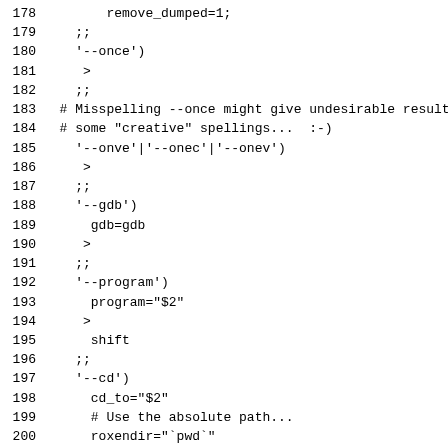178     remove_dumped=1;
179     ;;
180     '--once')
181       once=1
182     ;;
183   # Misspelling --once might give undesirable results
184   # some "creative" spellings...  :-)
185     '--onve'|'--onec'|'--onev')
186       once=1
187     ;;
188     '--gdb')
189       gdb=gdb
190       once=1
191     ;;
192     '--program')
193       program="$2"
194       once=1
195       shift
196     ;;
197     '--cd')
198       cd_to="$2"
199       # Use the absolute path...
200       roxendir="`pwd`"
201       once=1
202       shift
203     ;;
204     -r*|-d*|-t*|-l*|-w*)